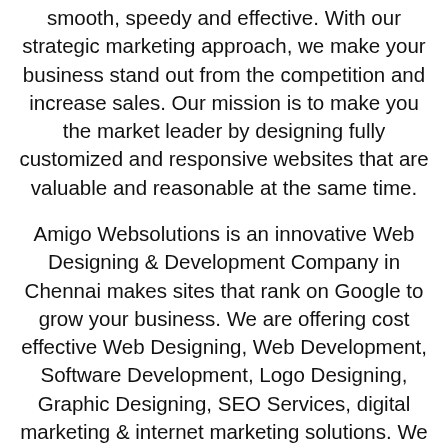smooth, speedy and effective. With our strategic marketing approach, we make your business stand out from the competition and increase sales. Our mission is to make you the market leader by designing fully customized and responsive websites that are valuable and reasonable at the same time.
Amigo Websolutions is an innovative Web Designing & Development Company in Chennai makes sites that rank on Google to grow your business. We are offering cost effective Web Designing, Web Development, Software Development, Logo Designing, Graphic Designing, SEO Services, digital marketing & internet marketing solutions. We make reasonable websites and offer trusted web solutions with wonderful results. We understand your needs and then market completely. That's why we provide the best